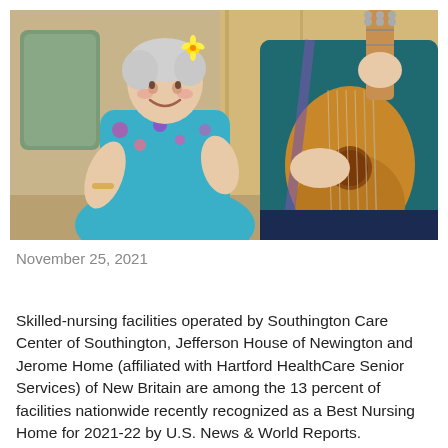[Figure (photo): An elderly woman in a bright blue floral dress with a yellow flower in her hair is seated and appears to be clapping or moving her hands joyfully. A younger woman in a teal long-sleeve shirt is playing an acoustic guitar beside her. The setting appears to be a nursing home or care facility with warm wood-toned walls and green upholstered furniture in the background.]
November 25, 2021
Skilled-nursing facilities operated by Southington Care Center of Southington, Jefferson House of Newington and Jerome Home (affiliated with Hartford HealthCare Senior Services) of New Britain are among the 13 percent of facilities nationwide recently recognized as a Best Nursing Home for 2021-22 by U.S. News & World Reports.